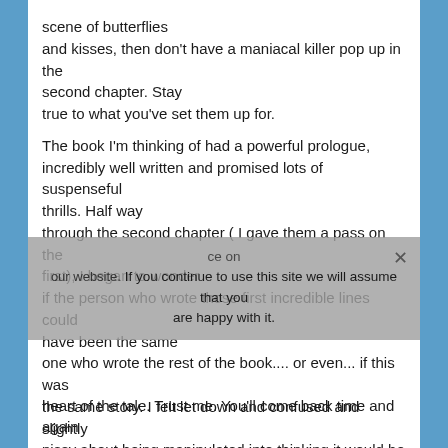scene of butterflies and kisses, then don't have a maniacal killer pop up in the second chapter. Stay true to what you've set them up for.
The book I'm thinking of had a powerful prologue, incredibly well written and promised lots of suspenseful thrills. Half way through the second chapter ( I gave them a pass on the first), I began to wonder if the person who wrote those first incredible lines could have been the same one who wrote the rest of the book.... or even... if this was the same story. I felt let down and confused and slightly pissy about being manipulated into thinking it would be a great read.
So, never do that to your fans. Work on that first line, sure. Make it strong. Leave a question. And then move on to write the
heart of the tale. Trust me. You'll come back time and again